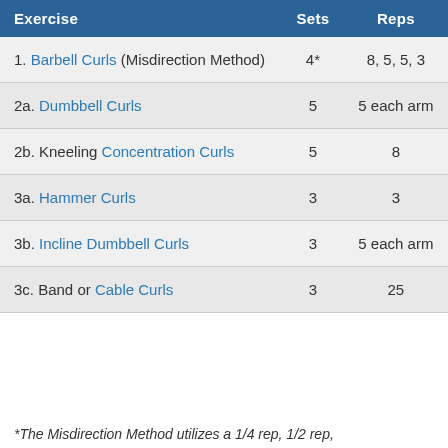| Exercise | Sets | Reps |
| --- | --- | --- |
| 1. Barbell Curls (Misdirection Method) | 4* | 8, 5, 5, 3 |
| 2a. Dumbbell Curls | 5 | 5 each arm |
| 2b. Kneeling Concentration Curls | 5 | 8 |
| 3a. Hammer Curls | 3 | 3 |
| 3b. Incline Dumbbell Curls | 3 | 5 each arm |
| 3c. Band or Cable Curls | 3 | 25 |
*The Misdirection Method utilizes a 1/4 rep, 1/2 rep,